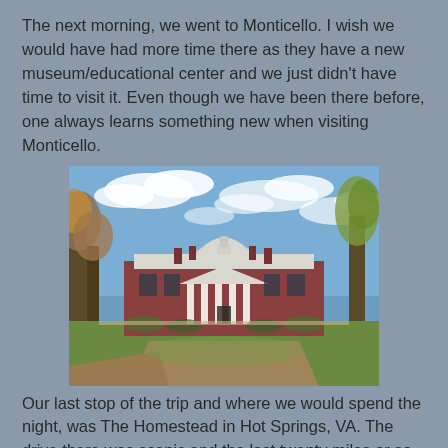The next morning, we went to Monticello.  I wish we would have had more time there as they have a new museum/educational center and we just didn't have time to visit it.  Even though we have been there before, one always learns something new when visiting Monticello.
[Figure (photo): Photograph of Monticello, Thomas Jefferson's historic plantation home in Virginia, showing the iconic neoclassical architecture with white dome, red brick facade, white columns, and green lawn in the foreground under a partly cloudy sky.]
Our last stop of the trip and where we would spend the night, was The Homestead in Hot Springs, VA.  The drive there was scenic and the last twenty miles or so were climbing the mountain on a two lane highway, curving and twisting, enveloped in the colorful autumn trees.  It was hard to get a